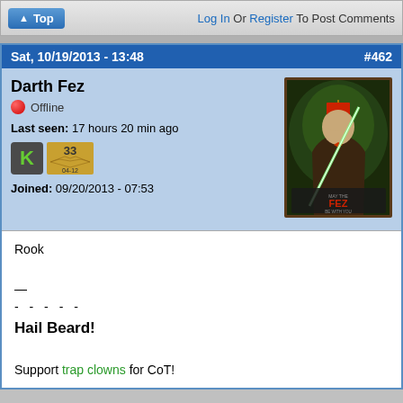Top | Log In Or Register To Post Comments
Sat, 10/19/2013 - 13:48  #462
Darth Fez
Offline
Last seen: 17 hours 20 min ago
Joined: 09/20/2013 - 07:53
[Figure (illustration): Avatar image: Doctor Who character holding a lightsaber with text 'MAY THE FEZ BE WITH YOU']
Rook
—
- - - - -
Hail Beard!
Support trap clowns for CoT!